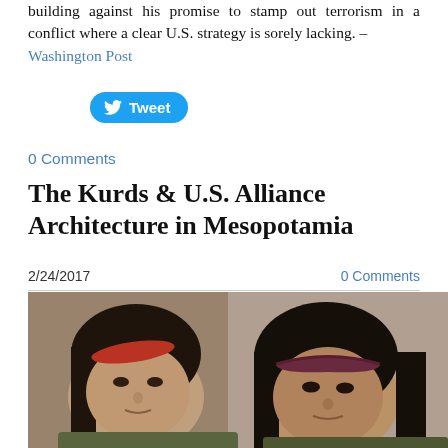building against his promise to stamp out terrorism in a conflict where a clear U.S. strategy is sorely lacking. – Washington Post
[Figure (other): Tweet button (Twitter/X social share button)]
0 Comments
The Kurds & U.S. Alliance Architecture in Mesopotamia
2/24/2017    0 Comments
[Figure (photo): Photo of two young Kurdish women with dark hair, one wearing a red headband and one wearing a dark purple/maroon headband, both in military-style clothing, posing together indoors]